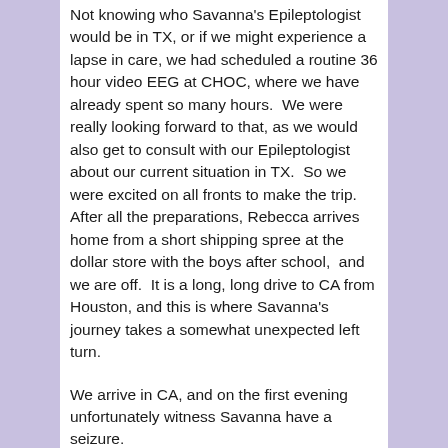Not knowing who Savanna's Epileptologist would be in TX, or if we might experience a lapse in care, we had scheduled a routine 36 hour video EEG at CHOC, where we have already spent so many hours.  We were really looking forward to that, as we would also get to consult with our Epileptologist about our current situation in TX.  So we were excited on all fronts to make the trip.  After all the preparations, Rebecca arrives home from a short shipping spree at the dollar store with the boys after school,  and we are off.  It is a long, long drive to CA from Houston, and this is where Savanna's journey takes a somewhat unexpected left turn.
We arrive in CA, and on the first evening unfortunately witness Savanna have a seizure.